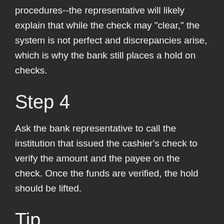procedures--the representative will likely explain that while the check may "clear," the system is not perfect and discrepancies arise, which is why the bank still places a hold on checks.
Step 4
Ask the bank representative to call the institution that issued the cashier's check to verify the amount and the payee on the check. Once the funds are verified, the hold should be lifted.
Tip
If a bank teller or customer service representative is unable to help you, speak with a branch manager. As long as the bank can prove that the funds have cleared, there's no reason to maintain a hold on the account.